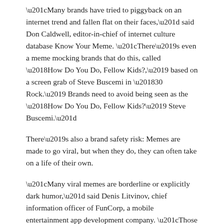“Many brands have tried to piggyback on an internet trend and fallen flat on their faces,” said Don Caldwell, editor-in-chief of internet culture database Know Your Meme. “There’s even a meme mocking brands that do this, called ‘How Do You Do, Fellow Kids?,’ based on a screen grab of Steve Buscemi in ‘30 Rock.’ Brands need to avoid being seen as the ‘How Do You Do, Fellow Kids?’ Steve Buscemi.”
There’s also a brand safety risk: Memes are made to go viral, but when they do, they can often take on a life of their own.
“Many viral memes are borderline or explicitly dark humor,” said Denis Litvinov, chief information officer of FunCorp, a mobile entertainment app development company. “Those kinds of memes can alienate certain groups or cause them to reject an associated brand and, therefore, should be avoided.”
ADVERTISEMENT
The Stream: 2021 Actionable